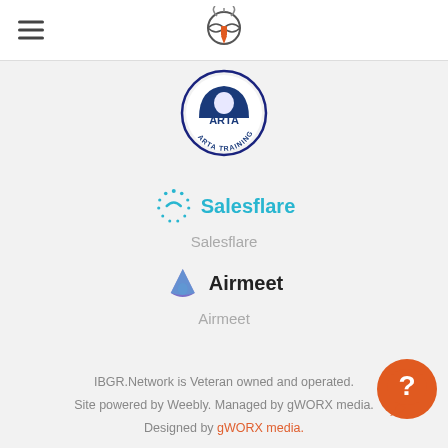IBGR.Network header with hamburger menu and logo
[Figure (logo): ARTA Training Academy logo — circular badge with figure holding antenna-like symbol]
[Figure (logo): Salesflare logo — teal circular dotted icon with Salesflare text in teal]
Salesflare
[Figure (logo): Airmeet logo — purple/blue triangular flame icon with Airmeet bold text]
Airmeet
IBGR.Network is Veteran owned and operated. Site powered by Weebly. Managed by ... Designed by gWORX media.